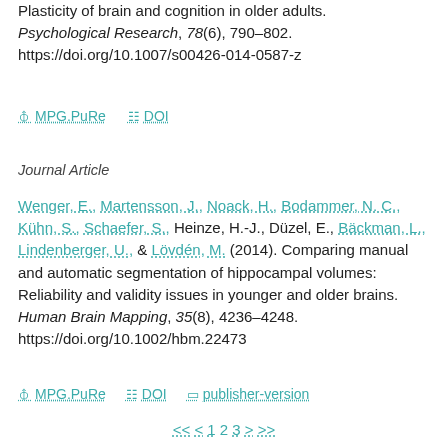Plasticity of brain and cognition in older adults. Psychological Research, 78(6), 790–802. https://doi.org/10.1007/s00426-014-0587-z
⊘ MPG.PuRe  ≡ DOI
Journal Article
Wenger, E., Martensson, J., Noack, H., Bodammer, N. C., Kühn, S., Schaefer, S., Heinze, H.-J., Düzel, E., Bäckman, L., Lindenberger, U., & Lövdén, M. (2014). Comparing manual and automatic segmentation of hippocampal volumes: Reliability and validity issues in younger and older brains. Human Brain Mapping, 35(8), 4236–4248. https://doi.org/10.1002/hbm.22473
⊘ MPG.PuRe  ≡ DOI  □ publisher-version
<< < 1 2 3 > >>